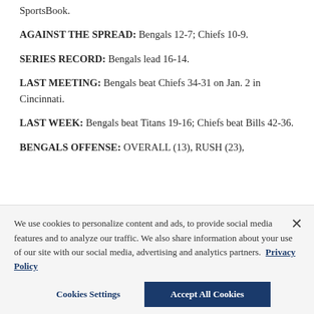SportsBook.
AGAINST THE SPREAD: Bengals 12-7; Chiefs 10-9.
SERIES RECORD: Bengals lead 16-14.
LAST MEETING: Bengals beat Chiefs 34-31 on Jan. 2 in Cincinnati.
LAST WEEK: Bengals beat Titans 19-16; Chiefs beat Bills 42-36.
BENGALS OFFENSE: OVERALL (13), RUSH (23),
We use cookies to personalize content and ads, to provide social media features and to analyze our traffic. We also share information about your use of our site with our social media, advertising and analytics partners. Privacy Policy
Cookies Settings
Accept All Cookies